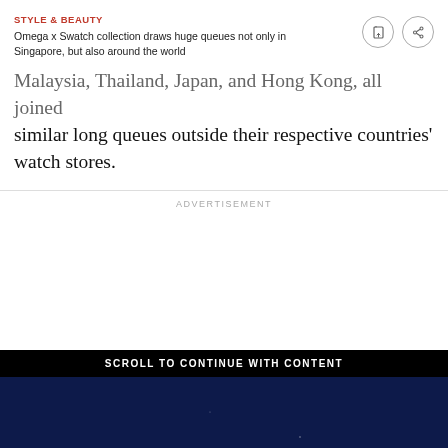STYLE & BEAUTY
Omega x Swatch collection draws huge queues not only in Singapore, but also around the world
Malaysia, Thailand, Japan, and Hong Kong, all joined similar long queues outside their respective countries' watch stores.
ADVERTISEMENT
SCROLL TO CONTINUE WITH CONTENT
[Figure (screenshot): Dark navy blue video advertisement area with partial colored imagery at the bottom]